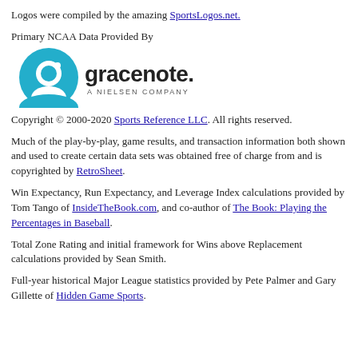Logos were compiled by the amazing SportsLogos.net.
Primary NCAA Data Provided By
[Figure (logo): Gracenote. A Nielsen Company logo — teal circle with stylized 'g' figure, followed by text 'gracenote. A NIELSEN COMPANY']
Copyright © 2000-2020 Sports Reference LLC. All rights reserved.
Much of the play-by-play, game results, and transaction information both shown and used to create certain data sets was obtained free of charge from and is copyrighted by RetroSheet.
Win Expectancy, Run Expectancy, and Leverage Index calculations provided by Tom Tango of InsideTheBook.com, and co-author of The Book: Playing the Percentages in Baseball.
Total Zone Rating and initial framework for Wins above Replacement calculations provided by Sean Smith.
Full-year historical Major League statistics provided by Pete Palmer and Gary Gillette of Hidden Game Sports.